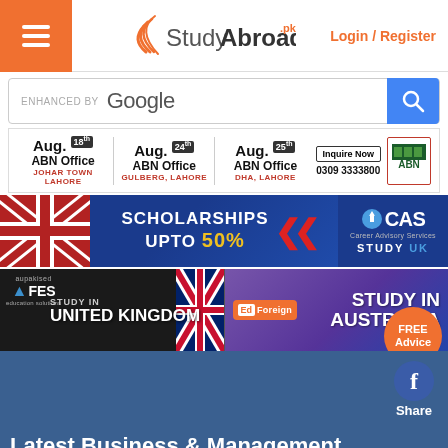[Figure (screenshot): StudyAbroad.pk website header with hamburger menu (orange), logo, and Login/Register link in orange]
[Figure (screenshot): Google search bar with 'enhanced by Google' text and blue search button with magnifying glass icon]
[Figure (screenshot): ABN Office advertisement banner showing three events: Aug. 18th ABN Office Johar Town Lahore, Aug. 24th ABN Office Gulberg Lahore, Aug. 25th ABN Office DHA Lahore, with Inquire Now button and phone number 0309 3333800]
[Figure (screenshot): CAS Study UK scholarships banner: SCHOLARSHIPS UPTO 50% on dark blue background with UK flag chevrons and CAS logo]
[Figure (screenshot): Two ads side by side: FES Study in United Kingdom with UK flag, and Ed Foreign Study in Australia with orange FREE Advice circle]
[Figure (screenshot): Blue section with Facebook Share button and 'Latest Business & Management' title text in white]